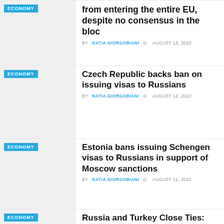from entering the entire EU, despite no consensus in the bloc
BY NATIA GIORGOBIANI  AUGUST 15, 2022
Czech Republic backs ban on issuing visas to Russians
BY NATIA GIORGOBIANI  AUGUST 12, 2022
Estonia bans issuing Schengen visas to Russians in support of Moscow sanctions
BY NATIA GIORGOBIANI  AUGUST 11, 2022
Russia and Turkey Close Ties: Great Allies or Approximation of Convenience?